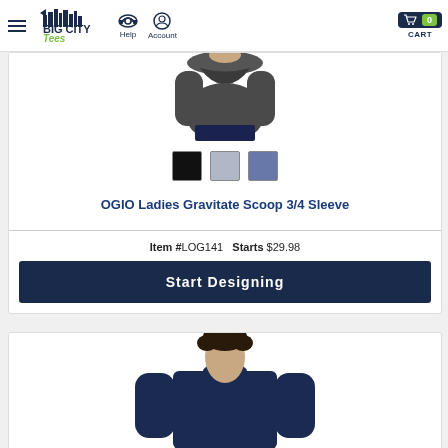Big City Tees — Help | Account | CART 0
[Figure (photo): Cropped photo of model wearing dark gray OGIO Ladies Gravitate Scoop 3/4 Sleeve shirt, showing torso and arms]
[Figure (other): Three color swatches: black, light gray, and slate blue]
OGIO Ladies Gravitate Scoop 3/4 Sleeve
Item #LOG141   Starts $29.98
Start Designing
[Figure (photo): Cropped photo of model wearing navy long-sleeve crew neck shirt, top portion visible]